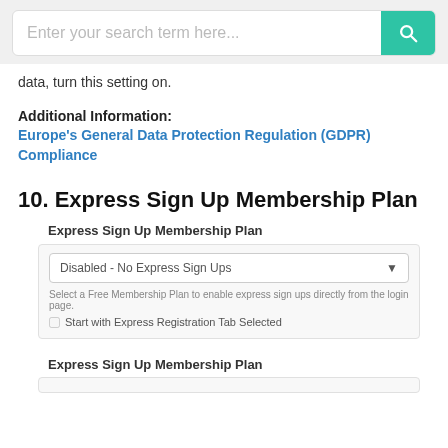[Figure (screenshot): Search bar input with placeholder text 'Enter your search term here...' and a teal search button with magnifying glass icon]
data, turn this setting on.
Additional Information:
Europe's General Data Protection Regulation (GDPR) Compliance
10. Express Sign Up Membership Plan
Express Sign Up Membership Plan
Disabled - No Express Sign Ups
Select a Free Membership Plan to enable express sign ups directly from the login page.
Start with Express Registration Tab Selected
Express Sign Up Membership Plan